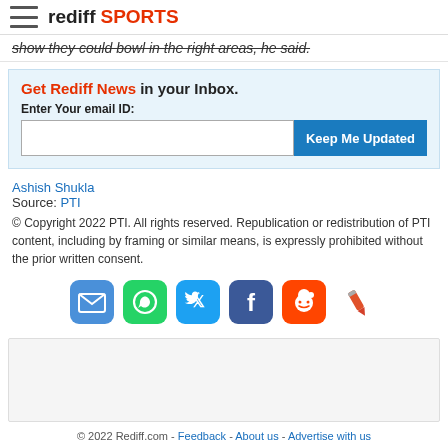rediff SPORTS
show they could bowl in the right areas, he said.
Get Rediff News in your Inbox. Enter Your email ID: Keep Me Updated
Ashish Shukla
Source: PTI
© Copyright 2022 PTI. All rights reserved. Republication or redistribution of PTI content, including by framing or similar means, is expressly prohibited without the prior written consent.
[Figure (illustration): Social sharing icons: email (blue), WhatsApp (green), Twitter (blue), Facebook (dark blue), Reddit (orange), pencil/edit icon]
© 2022 Rediff.com - Feedback - About us - Advertise with us